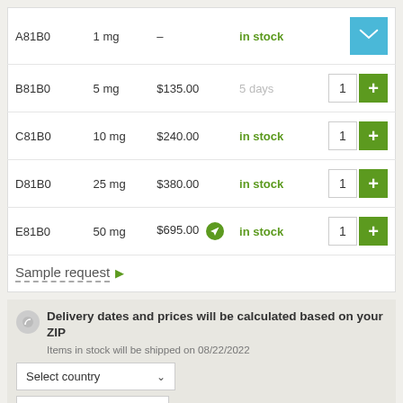| ID | Dose | Price | Availability | Qty |
| --- | --- | --- | --- | --- |
| A81B0 | 1 mg | – | in stock | email |
| B81B0 | 5 mg | $135.00 | 5 days | 1 + |
| C81B0 | 10 mg | $240.00 | in stock | 1 + |
| D81B0 | 25 mg | $380.00 | in stock | 1 + |
| E81B0 | 50 mg | $695.00 | in stock | 1 + |
| Sample request ▶ |  |  |  |  |
Delivery dates and prices will be calculated based on your ZIP
Items in stock will be shipped on 08/22/2022
Select country
ZIP
City
Set